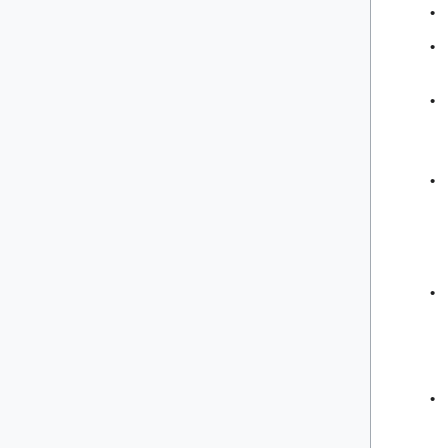Bank of India
Executive Director of World Bank
Chairperson and Members of the Railway Board
Chief Vigilance Officers and directors of the board in Public Sector Undertakings.
Secretariat posts of and above the rank of Joint secretary to the Government of India.
Chief of Securities and Exchange Board of India
This Committee decides on all important empanelments and shift of officers serving on Central deputation. In addition, all appointments by promotion that require ACC approval are processed through the E.O. Division. For this purpose, the Establishment Officer functions as the Secretary to the